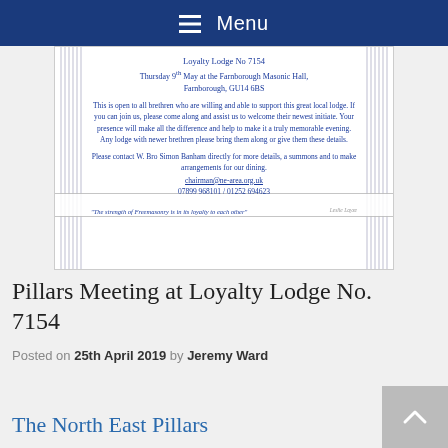Menu
[Figure (illustration): Masonic lodge invitation card with classical pillar decorations on sides. Text reads: Loyalty Lodge No 7154, Thursday 9th May at the Farnborough Masonic Hall, Farnborough, GU14 6BS. Body text about open invitation to brethren. Contact details for W. Bro Simon Banham, chairman@ne-area.org.uk, 07899 968101 / 01252 694623. Quote: The strength of Freemasonry is in its loyalty to each other.]
Pillars Meeting at Loyalty Lodge No. 7154
Posted on 25th April 2019 by Jeremy Ward
The North East Pillars